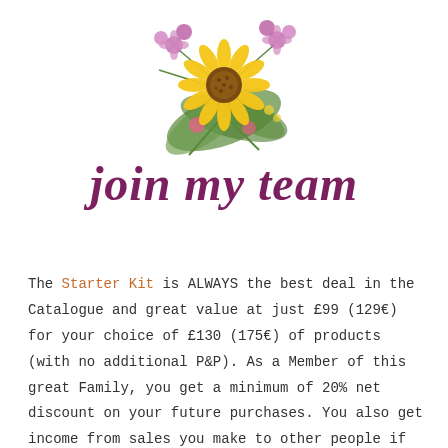[Figure (illustration): Watercolor bouquet with a yellow sunflower in the center, surrounded by pink and purple wildflowers and green leaves.]
join my team
The Starter Kit is ALWAYS the best deal in the Catalogue and great value at just £99 (129€) for your choice of £130 (175€) of products (with no additional P&P). As a Member of this great Family, you get a minimum of 20% net discount on your future purchases. You also get income from sales you make to other people if you want to use this as a business. Win,Win Right?